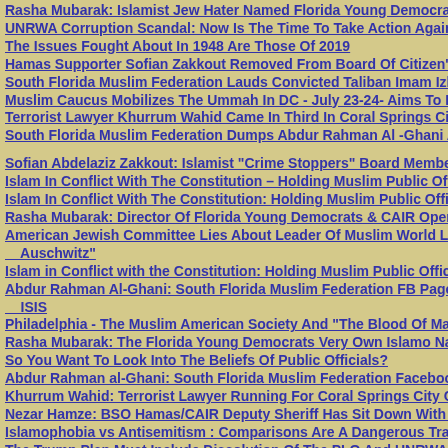Rasha Mubarak: Islamist Jew Hater Named Florida Young Democrat Of The...
UNRWA Corruption Scandal: Now Is The Time To Take Action Against Their...
The Issues Fought About In 1948 Are Those Of 2019
Hamas Supporter Sofian Zakkout Removed From Board Of Citizen's Crime W...
South Florida Muslim Federation Lauds Convicted Taliban Imam Izhar Khan...
Muslim Caucus Mobilizes The Ummah In DC - July 23-24- Aims To Replace...
Terrorist Lawyer Khurrum Wahid Came In Third In Coral Springs City Commi...
South Florida Muslim Federation Dumps Abdur Rahman Al -Ghani As FB Pa...
Sofian Abdelaziz Zakkout: Islamist "Crime Stoppers" Board Member Incites V...
Islam In Conflict With The Constitution – Holding Muslim Public Officials Acco...
Islam In Conflict With The Constitution: Holding Muslim Public Officials Acco...
Rasha Mubarak: Director Of Florida Young Democrats & CAIR Operative Att...
American Jewish Committee Lies About Leader Of Muslim World League Be... Auschwitz"
Islam in Conflict with the Constitution: Holding Muslim Public Officials Accou...
Abdur Rahman Al-Ghani: South Florida Muslim Federation FB Page Manage... ISIS
Philadelphia - The Muslim American Society And "The Blood Of Martyrs"
Rasha Mubarak: The Florida Young Democrats Very Own Islamo Nazi Anti S...
So You Want To Look Into The Beliefs Of Public Officials?
Abdur Rahman al-Ghani: South Florida Muslim Federation Facebook Manag...
Khurrum Wahid: Terrorist Lawyer Running For Coral Springs City Commissio...
Nezar Hamze: BSO Hamas/CAIR Deputy Sheriff Has Sit Down With Taliban...
Islamophobia vs Antisemitism : Comparisons Are A Dangerous Travesty
The Trump Plan Must Include Dissolution Of The PLO And UNRWA
Sofian Abdelaziz Zakkout: Crime Stoppers And Citizen's Crime Watch Terror...
Ahmed Salman Ar-Ahmad Shahrour CNR Son Backtracking In Fo...